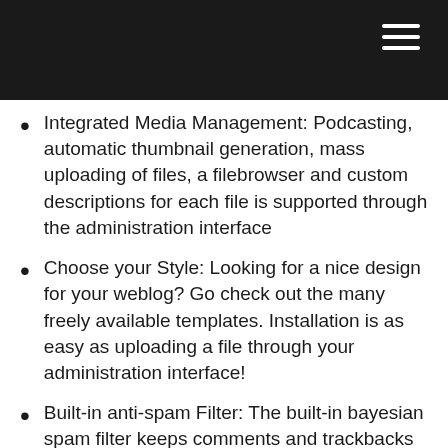Integrated Media Management: Podcasting, automatic thumbnail generation, mass uploading of files, a filebrowser and custom descriptions for each file is supported through the administration interface
Choose your Style: Looking for a nice design for your weblog? Go check out the many freely available templates. Installation is as easy as uploading a file through your administration interface!
Built-in anti-spam Filter: The built-in bayesian spam filter keeps comments and trackbacks in you blog clean. And comment moderation, Captchas and trackback validation is available through plugins.
Support for Trackbacks: Trackback blogs you read by simply linking to them! LifeType will automatically find the trackback URL of the blog you are linking to.
Multiple Users per Blog: You can easily give your friends